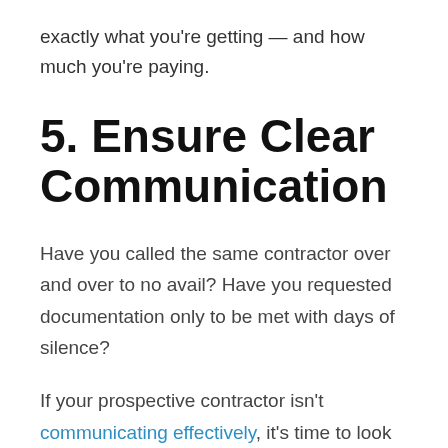exactly what you're getting — and how much you're paying.
5. Ensure Clear Communication
Have you called the same contractor over and over to no avail? Have you requested documentation only to be met with days of silence?
If your prospective contractor isn't communicating effectively, it's time to look elsewhere.